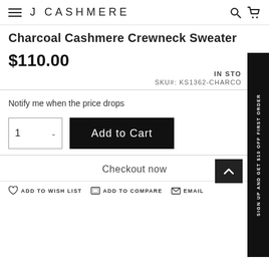J CASHMERE
Charcoal Cashmere Crewneck Sweater
$110.00
IN STOCK
SKU#: KS1362-CHARCO
Notify me when the price drops
Add to Cart
Checkout now
ADD TO WISH LIST   ADD TO COMPARE   EMAIL
SIGN UP AND GET $10 OFF FIRST ORDER